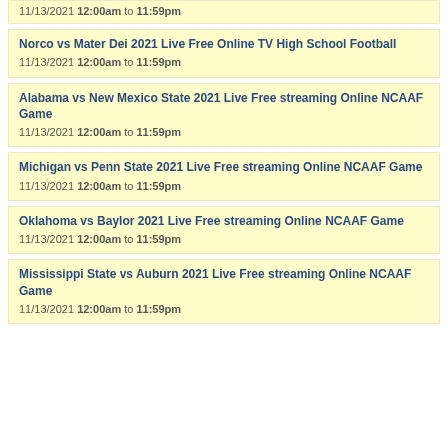11/13/2021 12:00am to 11:59pm
Norco vs Mater Dei 2021 Live Free Online TV High School Football
11/13/2021 12:00am to 11:59pm
Alabama vs New Mexico State 2021 Live Free streaming Online NCAAF Game
11/13/2021 12:00am to 11:59pm
Michigan vs Penn State 2021 Live Free streaming Online NCAAF Game
11/13/2021 12:00am to 11:59pm
Oklahoma vs Baylor 2021 Live Free streaming Online NCAAF Game
11/13/2021 12:00am to 11:59pm
Mississippi State vs Auburn 2021 Live Free streaming Online NCAAF Game
11/13/2021 12:00am to 11:59pm